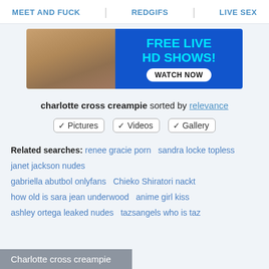MEET AND FUCK | REDGIFS | LIVE SEX
[Figure (photo): Advertising banner with photo of woman and text FREE LIVE HD SHOWS! WATCH NOW]
charlotte cross creampie sorted by relevance
✓ Pictures  ✓ Videos  ✓ Gallery
Related searches: renee gracie porn   sandra locke topless   janet jackson nudes   gabriella abutbol onlyfans   Chieko Shiratori nackt   how old is sara jean underwood   anime girl kiss   ashley ortega leaked nudes   tazsangels who is taz
Charlotte cross creampie